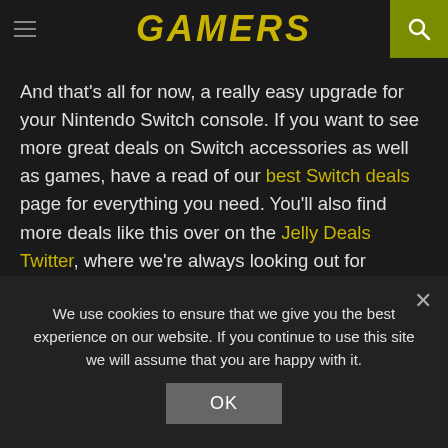GAMERS
And that's all for now, a really easy upgrade for your Nintendo Switch console. If you want to see more great deals on Switch accessories as well as games, have a read of our best Switch deals page for everything you need. You'll also find more deals like this over on the Jelly Deals Twitter, where we're always looking out for discounts on games, consoles, and more.
< PREVIOUS POST
We use cookies to ensure that we give you the best experience on our website. If you continue to use this site we will assume that you are happy with it.